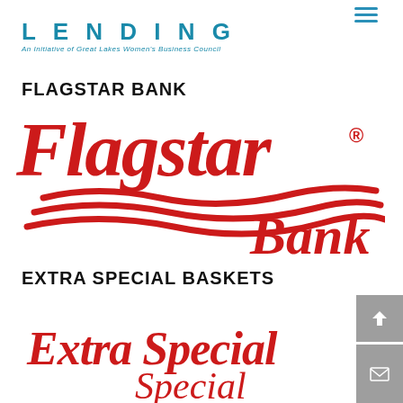LENDING — An Initiative of Great Lakes Women's Business Council
FLAGSTAR BANK
[Figure (logo): Flagstar Bank logo in red italic script with two wave lines beneath]
EXTRA SPECIAL BASKETS
[Figure (logo): Extra Special Baskets logo in red cursive script, partially visible]